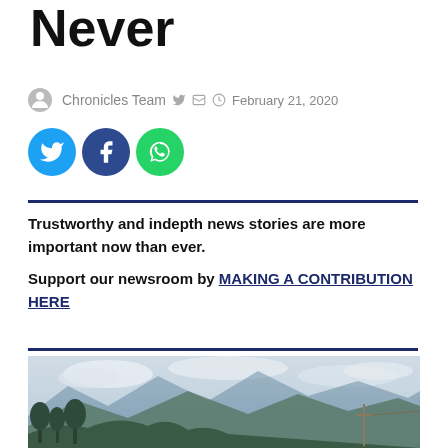Never
Chronicles Team  February 21, 2020
[Figure (illustration): Social share icons: Twitter (blue), Facebook (dark blue), WhatsApp (green)]
Trustworthy and indepth news stories are more important now than ever.

Support our newsroom by MAKING A CONTRIBUTION HERE
[Figure (photo): Landscape photo showing mountains with trees under a cloudy sky]